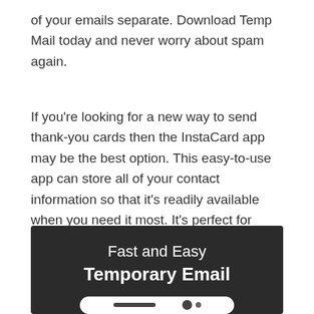of your emails separate. Download Temp Mail today and never worry about spam again.
If you're looking for a new way to send thank-you cards then the InstaCard app may be the best option. This easy-to-use app can store all of your contact information so that it's readily available when you need it most. It's perfect for those people who want to be able to quickly and easily create a custom card for whatever the occasion may be and Also Check out Apple Music Mod Apk.
[Figure (screenshot): Dark background promotional banner for a Temporary Email service. Text reads 'Fast and Easy' and 'Temporary Email' in white, with a partial phone graphic at the bottom.]